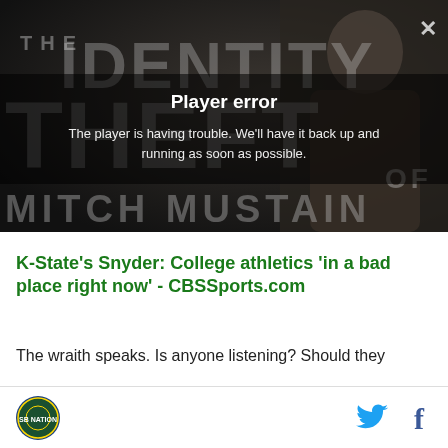[Figure (screenshot): Video player error screen with dark background showing a movie title 'THE IDENTITY THEFT OF MITCH MUSTAIN' in large faded letters, overlaid with a player error message. A close (X) button is in the top right. A person's silhouette is visible on the right side.]
K-State's Snyder: College athletics 'in a bad place right now' - CBSSports.com
The wraith speaks. Is anyone listening? Should they
[Figure (logo): Circular logo with dark blue/green background]
Twitter and Facebook social share icons